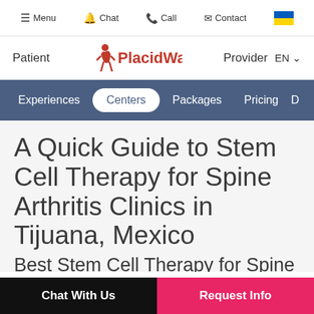Menu  Chat  Call  Contact
[Figure (logo): PlacidWay logo with stylized figure icon in red, text reads PlacidWay]
Patient  PlacidWay  Provider  EN
Experiences  Centers  Packages  Pricing  D…
A Quick Guide to Stem Cell Therapy for Spine Arthritis Clinics in Tijuana, Mexico
Best Stem Cell Therapy for Spine Arthritis Clinics in Tijuana, Mexico
Chat With Us   Request Info